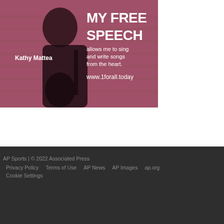[Figure (photo): Advertisement showing Kathy Mattea with a guitar against a pink/mauve background. Text reads: MY FREE SPEECH allows me to sing and write songs from the heart. Kathy Mattea. www.1forall.today]
AP Sports | © 2022 Associated Press
Privacy Policy   Terms of Use   AP News   AP Images   ap.org
Cookie Settings